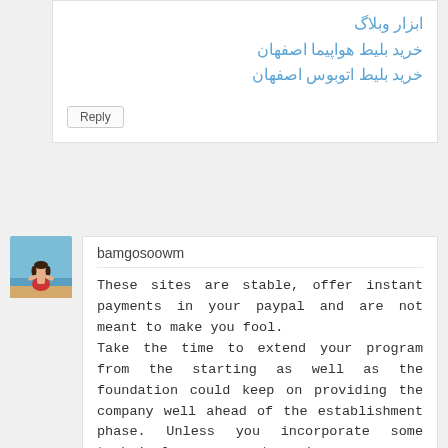ابزار وبلاگ
خرید بلیط هواپیما اصفهان
خرید بلیط اتوبوس اصفهان
Reply
[Figure (photo): Avatar photo of a woman at the beach]
bamgosoowm
These sites are stable, offer instant payments in your paypal and are not meant to make you fool.
Take the time to extend your program from the starting as well as the foundation could keep on providing the company well ahead of the establishment phase. Unless you incorporate some technical exposure to web servers you might battle to perform your own server management and administrative tasks.🎰🎰🎰
Reply